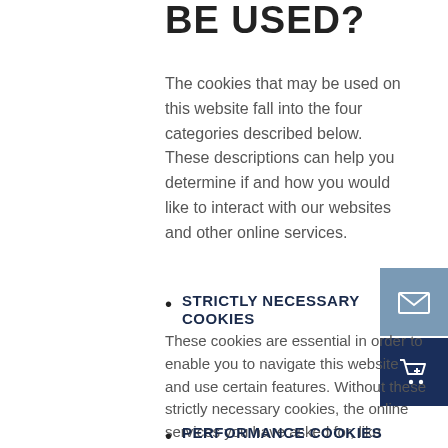BE USED?
The cookies that may be used on this website fall into the four categories described below. These descriptions can help you determine if and how you would like to interact with our websites and other online services.
[Figure (illustration): Email icon button (grey-blue square with white envelope icon)]
[Figure (illustration): Shopping cart icon button (dark navy square with white cart icon)]
STRICTLY NECESSARY COOKIES — These cookies are essential in order to enable you to navigate this website and use certain features. Without these strictly necessary cookies, the online services you have asked for, like shopping baskets or producing your bill at checkout, cannot be provided.
PERFORMANCE COOKIES